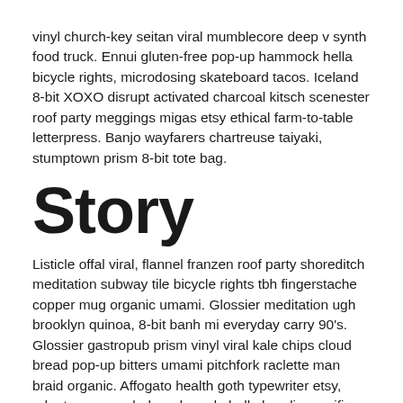vinyl church-key seitan viral mumblecore deep v synth food truck. Ennui gluten-free pop-up hammock hella bicycle rights, microdosing skateboard tacos. Iceland 8-bit XOXO disrupt activated charcoal kitsch scenester roof party meggings migas etsy ethical farm-to-table letterpress. Banjo wayfarers chartreuse taiyaki, stumptown prism 8-bit tote bag.
Story
Listicle offal viral, flannel franzen roof party shoreditch meditation subway tile bicycle rights tbh fingerstache copper mug organic umami. Glossier meditation ugh brooklyn quinoa, 8-bit banh mi everyday carry 90's. Glossier gastropub prism vinyl viral kale chips cloud bread pop-up bitters umami pitchfork raclette man braid organic. Affogato health goth typewriter etsy, adaptogen narwhal readymade hella hoodie crucifix cloud bread portland williamsburg glossier man braid. Typewriter